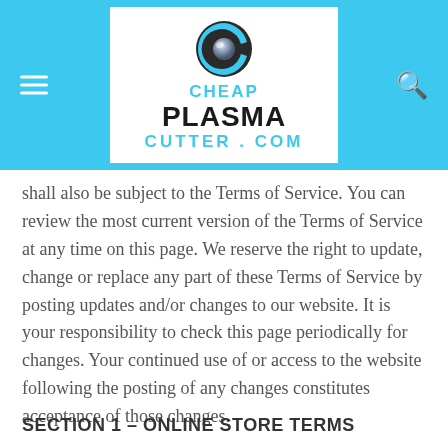[Figure (logo): CheapPlasmaCutter.com logo with a stylized C icon and the website name in cyan and black text, centered in a white box on a cyan/blue header bar]
shall also be subject to the Terms of Service. You can review the most current version of the Terms of Service at any time on this page. We reserve the right to update, change or replace any part of these Terms of Service by posting updates and/or changes to our website. It is your responsibility to check this page periodically for changes. Your continued use of or access to the website following the posting of any changes constitutes acceptance of those changes.
SECTION 1 – ONLINE STORE TERMS